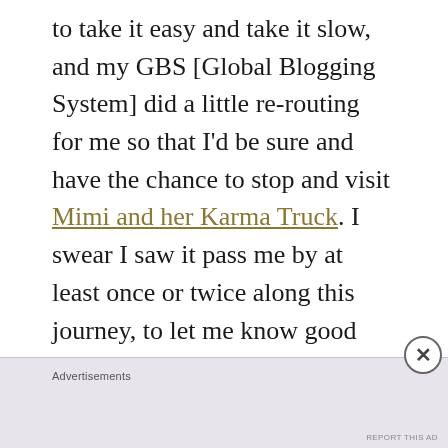to take it easy and take it slow, and my GBS [Global Blogging System] did a little re-routing for me so that I'd be sure and have the chance to stop and visit Mimi and her Karma Truck. I swear I saw it pass me by at least once or twice along this journey, to let me know good things were just up ahead.
Advertisements